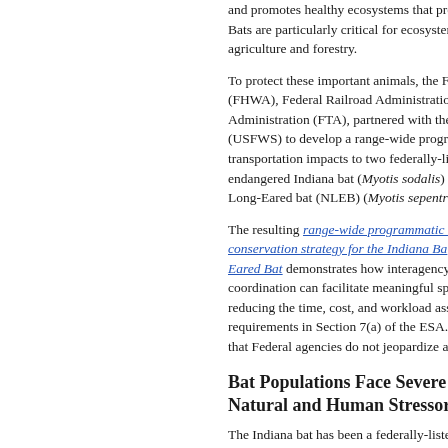and promotes healthy ecosystems that prov... Bats are particularly critical for ecosystems... agriculture and forestry.
To protect these important animals, the Fed... (FHWA), Federal Railroad Administration (F... Administration (FTA), partnered with the U.S... (USFWS) to develop a range-wide program... transportation impacts to two federally-listed... endangered Indiana bat (Myotis sodalis) an... Long-Eared bat (NLEB) (Myotis sepentrion...
The resulting range-wide programmatic conservation strategy for the Indiana Bat and Long-Eared Bat demonstrates how interagency coordination can facilitate meaningful species conservation, reducing the time, cost, and workload associated with consultation requirements in Section 7(a) of the ESA. The strategy ensures that Federal agencies do not jeopardize any...
Bat Populations Face Severe D... Natural and Human Stressors
The Indiana bat has been a federally-listed... 1966. The species' range covers most of th... States, crossing 22 States, with the majority... where animals hibernate—located in southe... species' inclusion on the endangered speci...